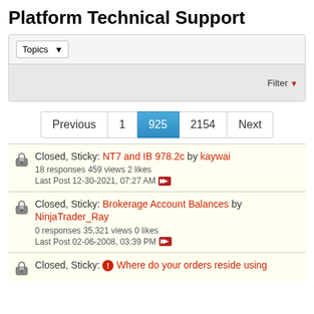Platform Technical Support
Topics (dropdown) Filter
Previous 1 925 2154 Next
Closed, Sticky: NT7 and IB 978.2c by kaywai
18 responses 459 views 2 likes
Last Post 12-30-2021, 07:27 AM
Closed, Sticky: Brokerage Account Balances by NinjaTrader_Ray
0 responses 35,321 views 0 likes
Last Post 02-06-2008, 03:39 PM
Closed, Sticky: Where do your orders reside using